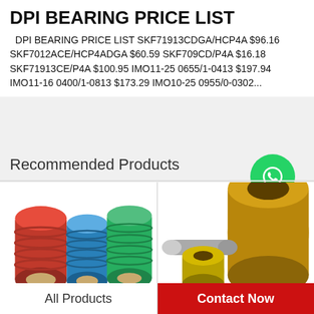DPI BEARING PRICE LIST
DPI BEARING PRICE LIST SKF71913CDGA/HCP4A $96.16 SKF7012ACE/HCP4ADGA $60.59 SKF709CD/P4A $16.18 SKF71913CE/P4A $100.95 IMO11-25 0655/1-0413 $197.94 IMO11-16 0400/1-0813 $173.29 IMO10-25 0955/0-0302...
Recommended Products
[Figure (photo): WhatsApp Online button with green circle and phone icon]
[Figure (photo): Colorful cylindrical bearing components in red, blue, and green]
[Figure (photo): Metal bearing bushings and bronze cylindrical sleeve components]
All Products
Contact Now